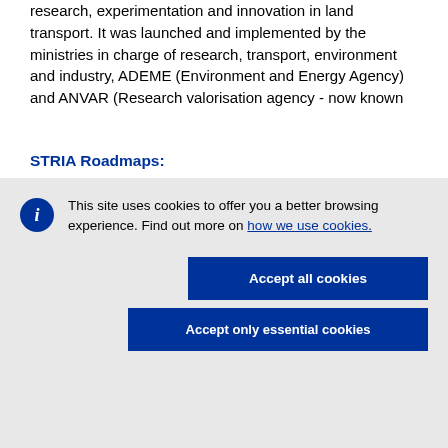research, experimentation and innovation in land transport. It was launched and implemented by the ministries in charge of research, transport, environment and industry, ADEME (Environment and Energy Agency) and ANVAR (Research valorisation agency - now known
STRIA Roadmaps:
This site uses cookies to offer you a better browsing experience. Find out more on how we use cookies.